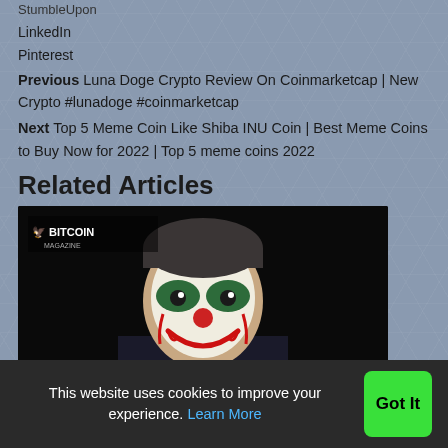StumbleUpon
LinkedIn
Pinterest
Previous Luna Doge Crypto Review On Coinmarketcap | New Crypto #lunadoge #coinmarketcap
Next Top 5 Meme Coin Like Shiba INU Coin | Best Meme Coins to Buy Now for 2022 | Top 5 meme coins 2022
Related Articles
[Figure (photo): Bitcoin Magazine article thumbnail: a man in a suit wearing clown makeup (Joker-style), on a dark background, with Bitcoin Magazine logo in top-left corner.]
The Fed Is About To Raise Rates
This website uses cookies to improve your experience. Learn More